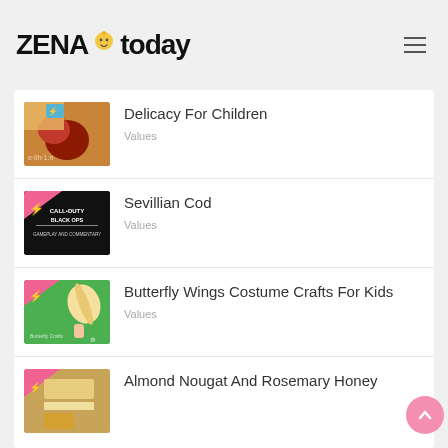ZENA today
Delicacy For Children
Values
Sevillian Cod
Values
Butterfly Wings Costume Crafts For Kids
Values
Almond Nougat And Rosemary Honey